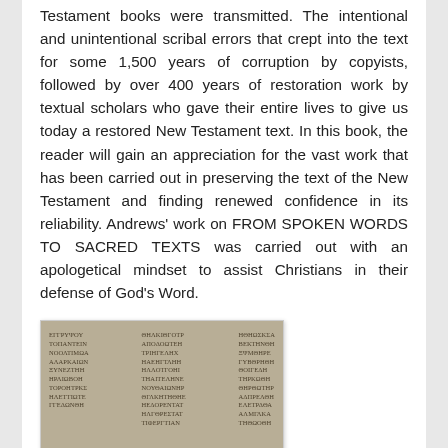Testament books were transmitted. The intentional and unintentional scribal errors that crept into the text for some 1,500 years of corruption by copyists, followed by over 400 years of restoration work by textual scholars who gave their entire lives to give us today a restored New Testament text. In this book, the reader will gain an appreciation for the vast work that has been carried out in preserving the text of the New Testament and finding renewed confidence in its reliability. Andrews' work on FROM SPOKEN WORDS TO SACRED TEXTS was carried out with an apologetical mindset to assist Christians in their defense of God's Word.
[Figure (illustration): Book cover of a work by Edward D. Andrews showing ancient Greek manuscript text in three columns on a tan/parchment background, with a dark navy blue bottom band showing the author name EDWARD D. ANDREWS and subtitle 'Author of over 100 Books']